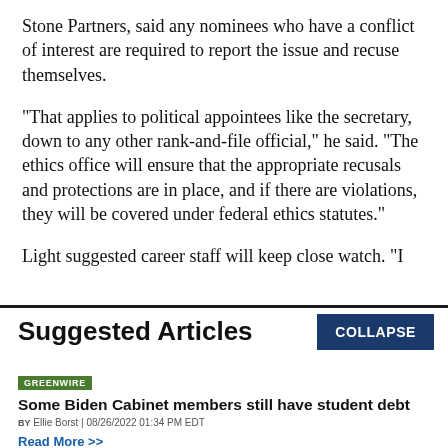Stone Partners, said any nominees who have a conflict of interest are required to report the issue and recuse themselves.
"That applies to political appointees like the secretary, down to any other rank-and-file official," he said. "The ethics office will ensure that the appropriate recusals and protections are in place, and if there are violations, they will be covered under federal ethics statutes."
Light suggested career staff will keep close watch. "I
Suggested Articles
COLLAPSE
GREENWIRE
Some Biden Cabinet members still have student debt
BY Ellie Borst | 08/26/2022 01:34 PM EDT
Read More >>
GREENWIRE
Packing a hurricane go bag? Don't forget your birth control.